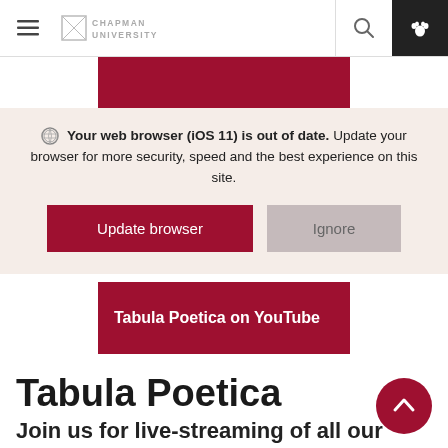Chapman University website header with hamburger menu, logo, search icon, and paw icon
[Figure (screenshot): Red banner area behind the browser update overlay]
Your web browser (iOS 11) is out of date. Update your browser for more security, speed and the best experience on this site.
Update browser | Ignore
Tabula Poetica on YouTube
Tabula Poetica
Join us for live-streaming of all our